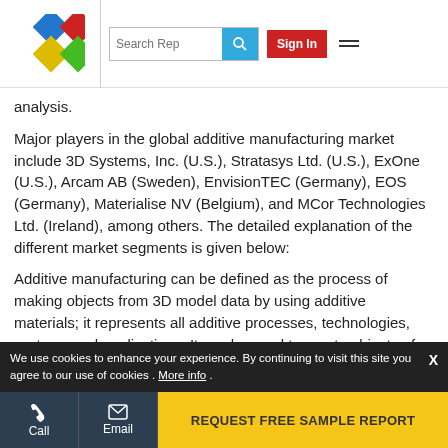[Figure (logo): Colorful diamond/rhombus logo with blue, red, green, yellow diamonds in a 2x2 grid]
analysis.
Major players in the global additive manufacturing market include 3D Systems, Inc. (U.S.), Stratasys Ltd. (U.S.), ExOne (U.S.), Arcam AB (Sweden), EnvisionTEC (Germany), EOS (Germany), Materialise NV (Belgium), and MCor Technologies Ltd. (Ireland), among others. The detailed explanation of the different market segments is given below:
Additive manufacturing can be defined as the process of making objects from 3D model data by using additive materials; it represents all additive processes, technologies, systems and applications. It can be used to create objects of almost any geometrical shape with a
We use cookies to enhance your experience. By continuing to visit this site you agree to our use of cookies . More info .
REQUEST FREE SAMPLE REPORT